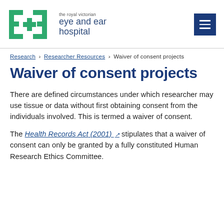[Figure (logo): Royal Victorian Eye and Ear Hospital logo with green E+E graphic and text]
Research › Researcher Resources › Waiver of consent projects
Waiver of consent projects
There are defined circumstances under which researcher may use tissue or data without first obtaining consent from the individuals involved. This is termed a waiver of consent.
The Health Records Act (2001) stipulates that a waiver of consent can only be granted by a fully constituted Human Research Ethics Committee.